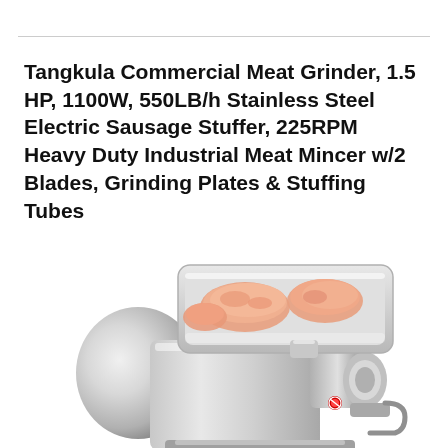Tangkula Commercial Meat Grinder, 1.5 HP, 1100W, 550LB/h Stainless Steel Electric Sausage Stuffer, 225RPM Heavy Duty Industrial Meat Mincer w/2 Blades, Grinding Plates & Stuffing Tubes
[Figure (photo): A stainless steel commercial meat grinder with a rectangular tray on top containing raw pork/meat pieces. The machine body is cylindrical and silver-colored, with a grinding head and attachment at the front.]